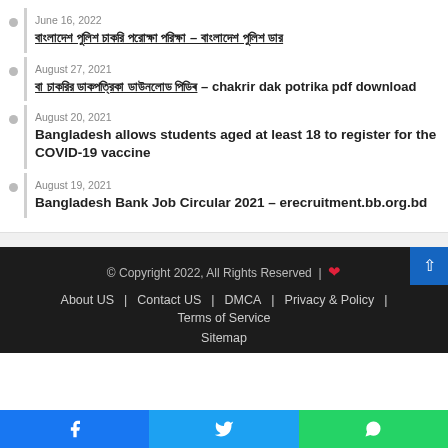June 16, 2022 — [Bengali text link]
August 27, 2021 — [Bengali text] – chakrir dak potrika pdf download
August 20, 2021 — Bangladesh allows students aged at least 18 to register for the COVID-19 vaccine
August 19, 2021 — Bangladesh Bank Job Circular 2021 – erecruitment.bb.org.bd
© Copyright 2022, All Rights Reserved | ❤ About US | Contact US | DMCA | Privacy & Policy | Terms of Service | Sitemap